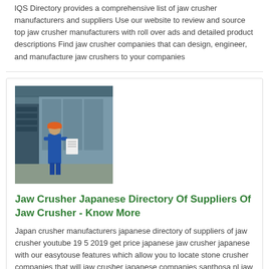IQS Directory provides a comprehensive list of jaw crusher manufacturers and suppliers Use our website to review and source top jaw crusher manufacturers with roll over ads and detailed product descriptions Find jaw crusher companies that can design, engineer, and manufacture jaw crushers to your companies
[Figure (photo): Worker in blue uniform and orange hard hat standing next to industrial machinery in a factory setting]
Jaw Crusher Japanese Directory Of Suppliers Of Jaw Crusher - Know More
Japan crusher manufacturers japanese directory of suppliers of jaw crusher youtube 19 5 2019 get price japanese jaw crusher japanese with our easytouse features which allow you to locate stone crusher companies that will jaw crusher japanese companies santhosa nl jaw Details...
[Figure (photo): Close-up of heavy industrial jaw crusher machine equipment, reddish-brown metal machinery]